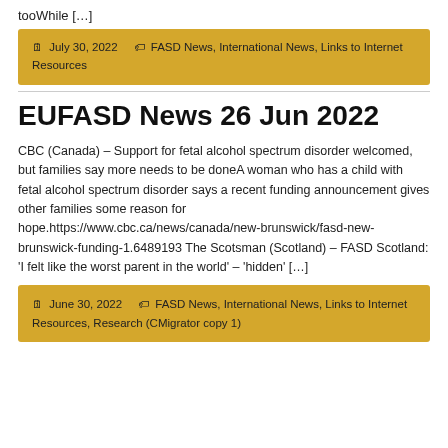tooWhile […]
July 30, 2022   FASD News, International News, Links to Internet Resources
EUFASD News 26 Jun 2022
CBC (Canada) – Support for fetal alcohol spectrum disorder welcomed, but families say more needs to be doneA woman who has a child with fetal alcohol spectrum disorder says a recent funding announcement gives other families some reason for hope.https://www.cbc.ca/news/canada/new-brunswick/fasd-new-brunswick-funding-1.6489193 The Scotsman (Scotland) – FASD Scotland: 'I felt like the worst parent in the world' – 'hidden' […]
June 30, 2022   FASD News, International News, Links to Internet Resources, Research (CMigrator copy 1)